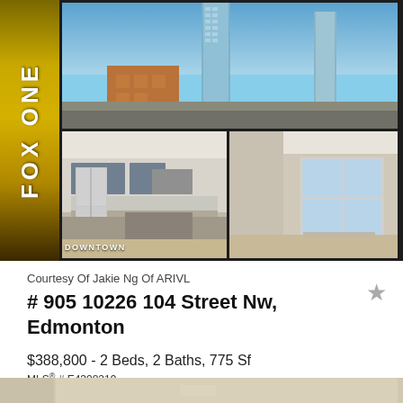[Figure (photo): Real estate listing collage: top image shows downtown Edmonton city skyline with tall glass towers and brick buildings; bottom-left shows a modern kitchen with stainless steel appliances and island; bottom-right shows an empty living room with large windows. Gold/yellow vertical banner on left reads 'FOX ONE'. 'DOWNTOWN' label at bottom left.]
Courtesy Of Jakie Ng Of ARIVL
# 905 10226 104 Street Nw, Edmonton
$388,800 - 2 Beds, 2 Baths, 775 Sf
MLS® # E4308219
[Figure (photo): Bottom strip showing partial view of another property listing photo]